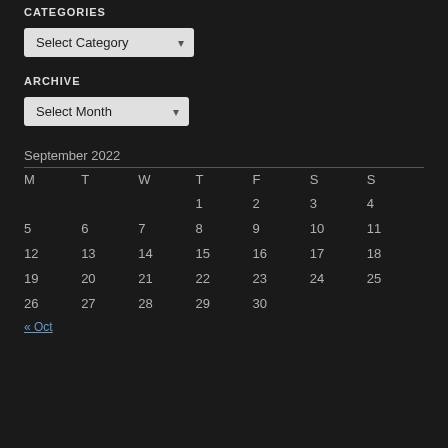CATEGORIES
[Figure (other): Select Category dropdown widget]
ARCHIVE
[Figure (other): Select Month dropdown widget]
September 2022
| M | T | W | T | F | S | S |
| --- | --- | --- | --- | --- | --- | --- |
|  |  |  | 1 | 2 | 3 | 4 |
| 5 | 6 | 7 | 8 | 9 | 10 | 11 |
| 12 | 13 | 14 | 15 | 16 | 17 | 18 |
| 19 | 20 | 21 | 22 | 23 | 24 | 25 |
| 26 | 27 | 28 | 29 | 30 |  |  |
« Oct